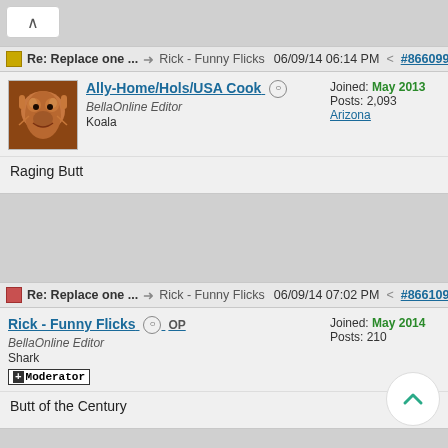[Figure (screenshot): Forum collapse button at top left]
Re: Replace one ... → Rick - Funny Flicks 06/09/14 06:14 PM < #866099
Ally-Home/Hols/USA Cook BellaOnline Editor Koala Joined: May 2013 Posts: 2,093 Arizona
Raging Butt
Re: Replace one ... → Rick - Funny Flicks 06/09/14 07:02 PM < #866109
Rick - Funny Flicks OP BellaOnline Editor Shark + Moderator Joined: May 2014 Posts: 210
Butt of the Century